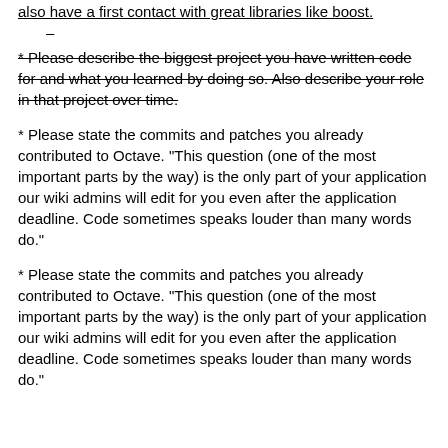also have a first contact with great libraries like boost.
–
* Please describe the biggest project you have written code for and what you learned by doing so. Also describe your role in that project over time.
* Please state the commits and patches you already contributed to Octave. "This question (one of the most important parts by the way) is the only part of your application our wiki admins will edit for you even after the application deadline. Code sometimes speaks louder than many words do."
* Please state the commits and patches you already contributed to Octave. "This question (one of the most important parts by the way) is the only part of your application our wiki admins will edit for you even after the application deadline. Code sometimes speaks louder than many words do."